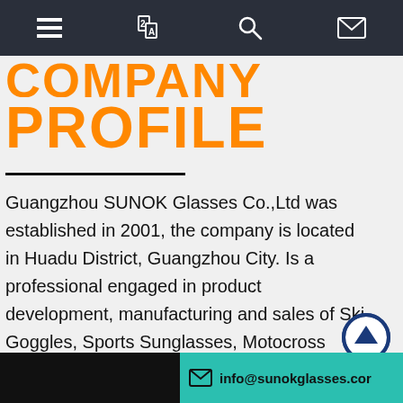Navigation bar with menu, translate, search, and mail icons
COMPANY PROFILE
Guangzhou SUNOK Glasses Co.,Ltd was established in 2001, the company is located in Huadu District, Guangzhou City. Is a professional engaged in product development, manufacturing and sales of Ski Goggles, Sports Sunglasses, Motocross Goggles. Swimming Goggles, Safety Glasses and Goggles, Our company occupies an area of 21000 Square meters. and has more than 200 employees. With an annual
info@sunokglasses.cor